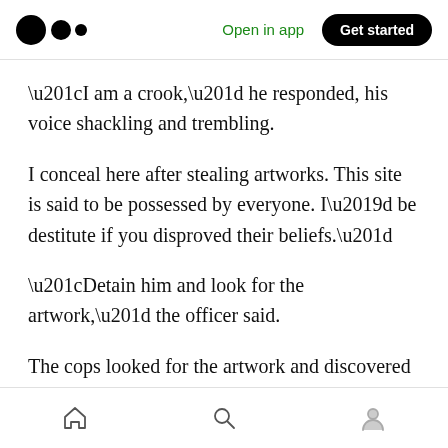Medium app header — Open in app | Get started
“I am a crook,” he responded, his voice shackling and trembling.
I conceal here after stealing artworks. This site is said to be possessed by everyone. I’d be destitute if you disproved their beliefs.”
“Detain him and look for the artwork,” the officer said.
The cops looked for the artwork and discovered it in the cellar.
Bottom navigation: Home, Search, Profile